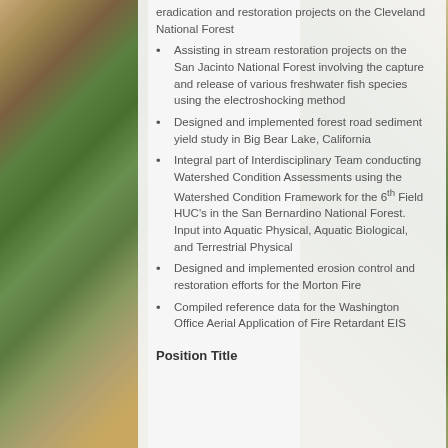eradication and restoration projects on the Cleveland National Forest
Assisting in stream restoration projects on the San Jacinto National Forest involving the capture and release of various freshwater fish species using the electroshocking method
Designed and implemented forest road sediment yield study in Big Bear Lake, California
Integral part of Interdisciplinary Team conducting Watershed Condition Assessments using the Watershed Condition Framework for the 6th Field HUC's in the San Bernardino National Forest. Input into Aquatic Physical, Aquatic Biological, and Terrestrial Physical
Designed and implemented erosion control and restoration efforts for the Morton Fire
Compiled reference data for the Washington Office Aerial Application of Fire Retardant EIS
Position Title